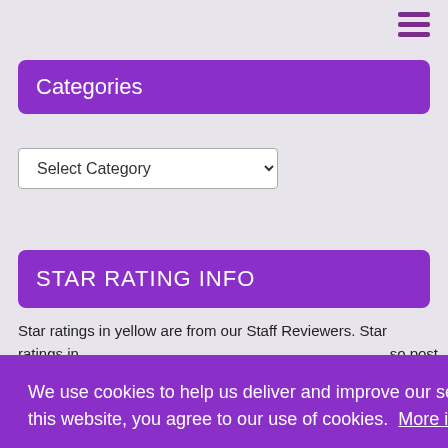[Figure (other): Hamburger menu icon — three horizontal purple bars stacked vertically, top right corner]
Categories
Select Category
STAR RATING INFO
Star ratings in yellow are from our Staff Reviewers. Star ratings in
so post
We use cookies to help us deliver and improve our services. By using this website, you agree to our use of cookies.  More info
I agree!
e here